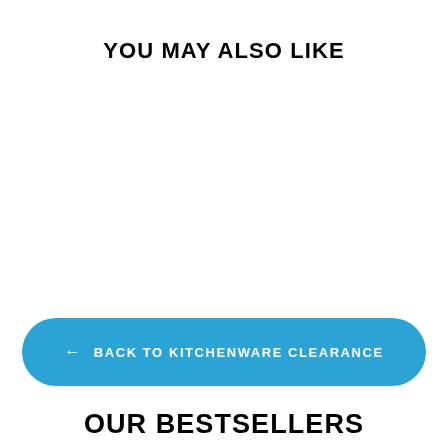YOU MAY ALSO LIKE
← BACK TO KITCHENWARE CLEARANCE
OUR BESTSELLERS